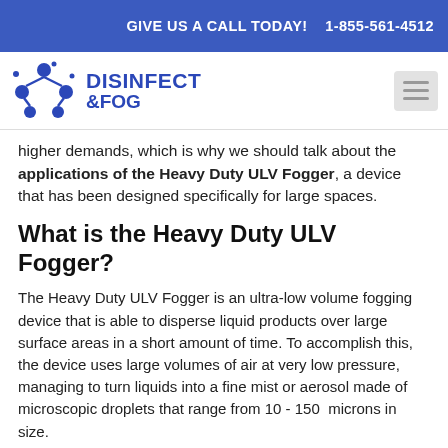GIVE US A CALL TODAY!   1-855-561-4512
[Figure (logo): Disinfect & Fog logo with blue molecule/spray icon and bold blue text reading DISINFECT &FOG]
higher demands, which is why we should talk about the applications of the Heavy Duty ULV Fogger, a device that has been designed specifically for large spaces.
What is the Heavy Duty ULV Fogger?
The Heavy Duty ULV Fogger is an ultra-low volume fogging device that is able to disperse liquid products over large surface areas in a short amount of time. To accomplish this, the device uses large volumes of air at very low pressure, managing to turn liquids into a fine mist or aerosol made of microscopic droplets that range from 10 - 150 microns in size.
These highly efficient foggers were named ULV like this because of the ultra-low volume of liquid they require to